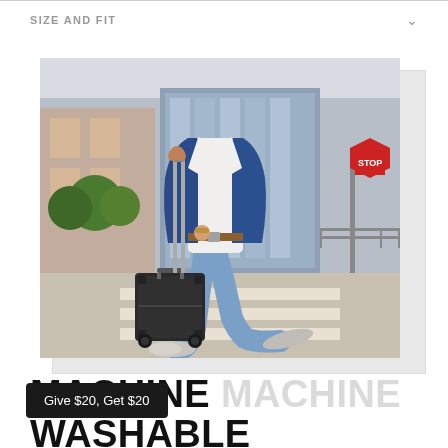SIZE AND FIT
[Figure (photo): Man in blue blazer and jeans walking across a crosswalk pulling a dark carry-on suitcase, outdoor urban setting with trees and a stop sign in background, wearing gray sneakers.]
MACHINE WASHABLE SHOES
Give $20, Get $20